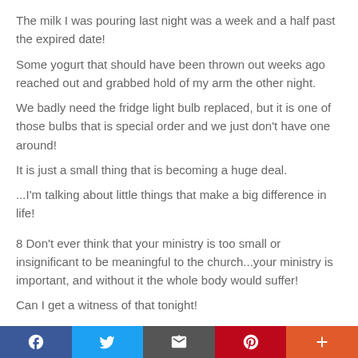The milk I was pouring last night was a week and a half past the expired date!
Some yogurt that should have been thrown out weeks ago reached out and grabbed hold of my arm the other night.
We badly need the fridge light bulb replaced, but it is one of those bulbs that is special order and we just don't have one around!
It is just a small thing that is becoming a huge deal.
...I'm talking about little things that make a big difference in life!
8 Don't ever think that your ministry is too small or insignificant to be meaningful to the church...your ministry is important, and without it the whole body would suffer!
Can I get a witness of that tonight!
Not only is every ministry important, but each ministry is
[Figure (infographic): Social sharing bar with Facebook, Twitter, Email, Pinterest, and More buttons]